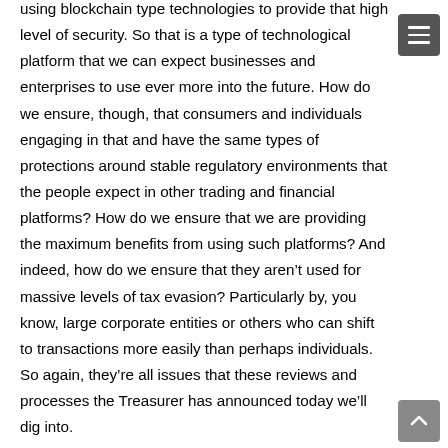using blockchain type technologies to provide that high level of security. So that is a type of technological platform that we can expect businesses and enterprises to use ever more into the future. How do we ensure, though, that consumers and individuals engaging in that and have the same types of protections around stable regulatory environments that the people expect in other trading and financial platforms? How do we ensure that we are providing the maximum benefits from using such platforms? And indeed, how do we ensure that they aren't used for massive levels of tax evasion? Particularly by, you know, large corporate entities or others who can shift to transactions more easily than perhaps individuals. So again, they're all issues that these reviews and processes the Treasurer has announced today we'll dig into.